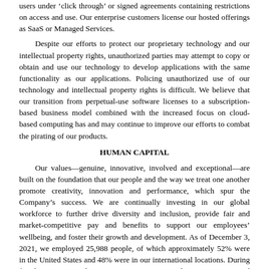users under 'click through' or signed agreements containing restrictions on access and use. Our enterprise customers license our hosted offerings as SaaS or Managed Services.
Despite our efforts to protect our proprietary technology and our intellectual property rights, unauthorized parties may attempt to copy or obtain and use our technology to develop applications with the same functionality as our applications. Policing unauthorized use of our technology and intellectual property rights is difficult. We believe that our transition from perpetual-use software licenses to a subscription-based business model combined with the increased focus on cloud-based computing has and may continue to improve our efforts to combat the pirating of our products.
HUMAN CAPITAL
Our values—genuine, innovative, involved and exceptional—are built on the foundation that our people and the way we treat one another promote creativity, innovation and performance, which spur the Company's success. We are continually investing in our global workforce to further drive diversity and inclusion, provide fair and market-competitive pay and benefits to support our employees' wellbeing, and foster their growth and development. As of December 3, 2021, we employed 25,988 people, of which approximately 52% were in the United States and 48% were in our international locations. During fiscal 2021, our total attrition rate was 12%. We have not experienced work stoppages and believe our employee relations are good. Our employee listening program helps us understand employee sentiment on a wide range of topics throughout the employee lifecycle, providing insights that inform our decisions about employee programs, talent risks, management opportunities, employee networks and more. In fiscal year 2021, 76% of our employees participated in